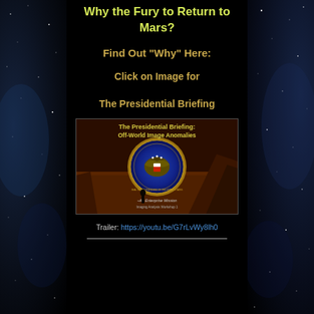Why the Fury to Return to Mars?
Find Out “Why” Here:
Click on Image for
The Presidential Briefing
[Figure (illustration): Book/video cover image titled 'The Presidential Briefing: Off-World Image Anomalies' featuring the US Presidential Seal over a Mars landscape with a glowing horizon. Subtitle: 'An Enterprise Mission Imaging Analysis Workshop 1']
Trailer: https://youtu.be/G7rLvWy8lh0